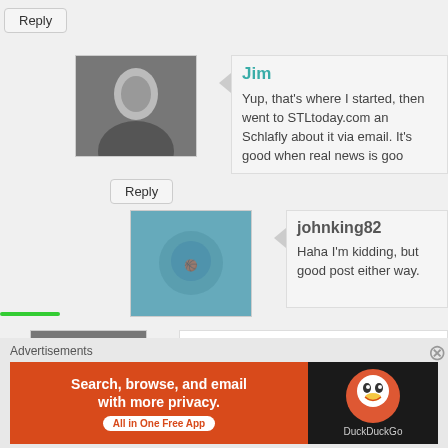Reply
Jim
Yup, that's where I started, then went to STLtoday.com and Schlafly about it via email. It's good when real news is go...
Reply
johnking82
Haha I'm kidding, but good post either way.
Jim
I hope you're right, as I get a sense that's the intent here.
Reply
[Figure (infographic): DuckDuckGo advertisement: Search, browse, and email with more privacy. All in One Free App. Orange background with DuckDuckGo logo on dark right panel.]